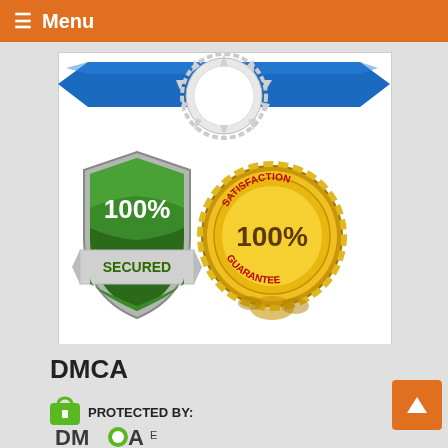☰ Menu
[Figure (illustration): A white/blue decorative ribbon banner at the top of a content card, with a gear/saw-tooth circle element in the center.]
[Figure (illustration): 100% Secured shield badge in green/silver with white banner reading SECURED.]
[Figure (illustration): 100% Satisfaction Guarantee gold wax seal badge with red text reading SATISFACTION GUARANTEE and large 100% in center.]
DMCA
[Figure (logo): DMCA Protected By logo — green padlock icon with DMCA text partially visible, reading PROTECTED BY: DMCA]